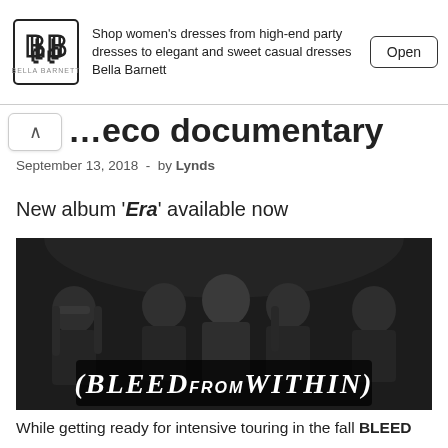[Figure (other): Advertisement banner for Bella Barnett women's dresses with logo, text, and Open button]
...eco documentary
September 13, 2018  -  by Lynds
New album 'Era' available now
[Figure (photo): Black and white band photo of Bleed From Within - five male band members standing together with band logo text at bottom]
While getting ready for intensive touring in the fall BLEED